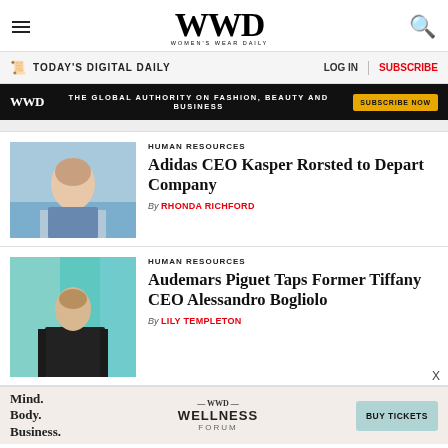WWD — Women's Wear Daily
TODAY'S DIGITAL DAILY  LOG IN  SUBSCRIBE
[Figure (infographic): WWD black banner ad: THE GLOBAL AUTHORITY ON FASHION, BEAUTY AND BUSINESS | SUBSCRIBE NOW button]
[Figure (photo): Headshot photo of Kasper Rorsted, Adidas CEO]
HUMAN RESOURCES
Adidas CEO Kasper Rorsted to Depart Company
By RHONDA RICHFORD
[Figure (photo): Photo of Alessandro Bogliolo at Tiffany & Co. backdrop]
HUMAN RESOURCES
Audemars Piguet Taps Former Tiffany CEO Alessandro Bogliolo
By LILY TEMPLETON
[Figure (infographic): WWD Wellness Forum advertisement: Mind. Body. Business. BUY TICKETS]